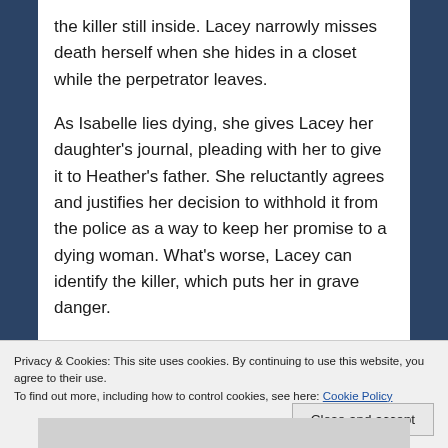the killer still inside. Lacey narrowly misses death herself when she hides in a closet while the perpetrator leaves.
As Isabelle lies dying, she gives Lacey her daughter's journal, pleading with her to give it to Heather's father. She reluctantly agrees and justifies her decision to withhold it from the police as a way to keep her promise to a dying woman. What's worse, Lacey can identify the killer, which puts her in grave danger.
She ends up in the Witness Protection Program and is relocated to Minnesota. But is she safe
Privacy & Cookies: This site uses cookies. By continuing to use this website, you agree to their use.
To find out more, including how to control cookies, see here: Cookie Policy